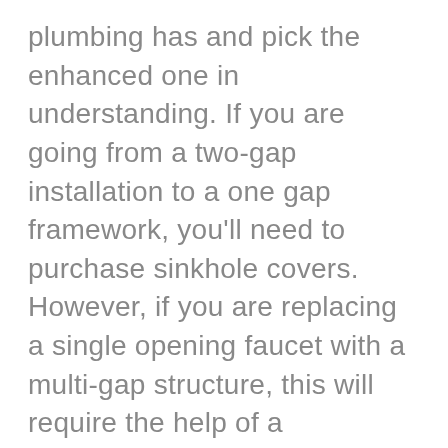plumbing has and pick the enhanced one in understanding. If you are going from a two-gap installation to a one gap framework, you'll need to purchase sinkhole covers. However, if you are replacing a single opening faucet with a multi-gap structure, this will require the help of a handyman. Additionally, gush stature, and in general, faucet tallness is significant highlights to mull over. On the off chance that you have cabinets over your sink, you must cautiously gauge the space accessible. For over sink mounts it is critically essential to have some space behind the faucets for